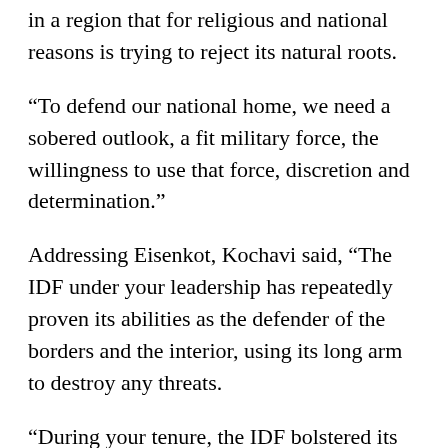in a region that for religious and national reasons is trying to reject its natural roots.
“To defend our national home, we need a sobered outlook, a fit military force, the willingness to use that force, discretion and determination.”
Addressing Eisenkot, Kochavi said, “The IDF under your leadership has repeatedly proven its abilities as the defender of the borders and the interior, using its long arm to destroy any threats.
“During your tenure, the IDF bolstered its units and increased its preparedness. I stand at the head of the military and on behalf of all of its soldiers and commanders, I thank and salute you.”